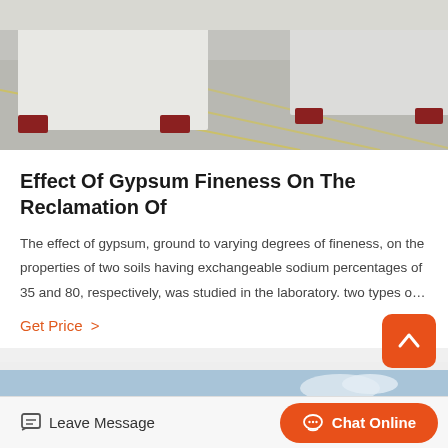[Figure (photo): Warehouse interior with large white rectangular objects on red legs on a concrete floor with yellow lines]
Effect Of Gypsum Fineness On The Reclamation Of
The effect of gypsum, ground to varying degrees of fineness, on the properties of two soils having exchangeable sodium percentages of 35 and 80, respectively, was studied in the laboratory. two types o…
Get Price  >
[Figure (photo): Outdoor hillside landscape with blue sky and clouds, hills covered with vegetation, and a vehicle visible]
Leave Message   Chat Online